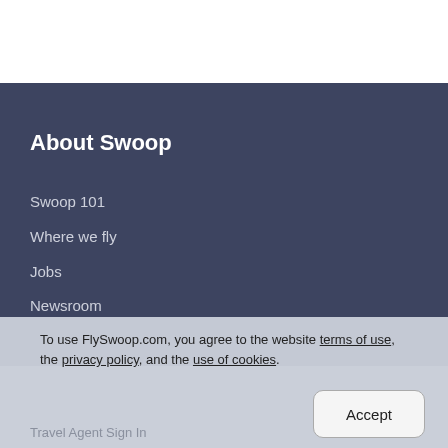About Swoop
Swoop 101
Where we fly
Jobs
Newsroom
To use FlySwoop.com, you agree to the website terms of use, the privacy policy, and the use of cookies.
Accept
Travel Agent Sign In